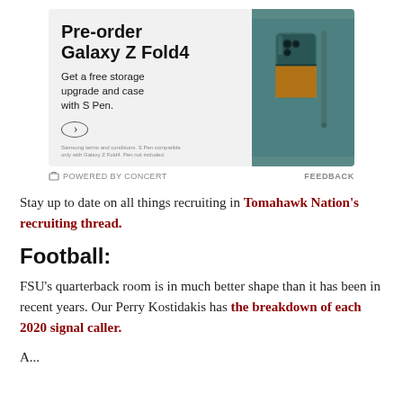[Figure (other): Samsung Galaxy Z Fold4 pre-order advertisement banner with teal/dark green phone image on right side. Text reads: Pre-order Galaxy Z Fold4. Get a free storage upgrade and case with S Pen.]
POWERED BY CONCERT   FEEDBACK
Stay up to date on all things recruiting in Tomahawk Nation's recruiting thread.
Football:
FSU's quarterback room is in much better shape than it has been in recent years. Our Perry Kostidakis has the breakdown of each 2020 signal caller.
...